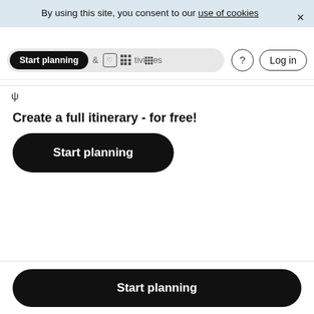By using this site, you consent to our use of cookies ×
[Figure (screenshot): Navigation bar with Start planning pill button, heart/activities icons, help button, and Log in button]
Create a full itinerary - for free!
[Figure (screenshot): Black rounded Start planning button]
[Figure (screenshot): Bottom bar with black rounded Start planning button]